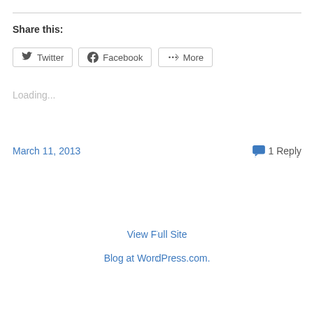Share this:
Twitter
Facebook
More
Loading...
March 11, 2013
1 Reply
View Full Site
Blog at WordPress.com.